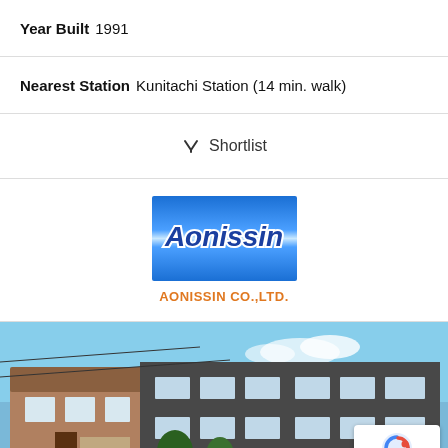Year Built 1991
Nearest Station Kunitachi Station (14 min. walk)
↓ Shortlist
[Figure (logo): Aonissin logo — blue gradient rectangle with white outlined text 'Aonissin' in italic bold]
AONISSIN CO.,LTD.
[Figure (photo): Exterior photo of modern dark-grey two-story apartment building with blue sky, with a smaller brown residential building to the left. Power lines visible. reCAPTCHA badge overlaid at bottom right with 'Privacy · Terms'.]